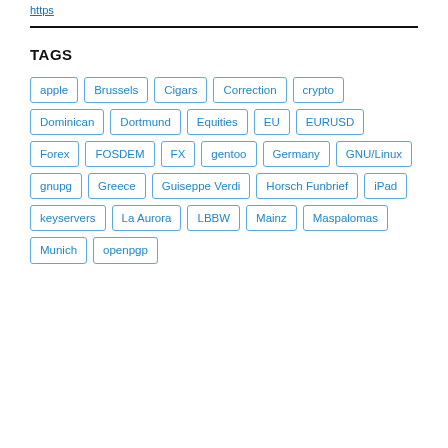https
TAGS
apple
Brussels
Cigars
Correction
crypto
Dominican
Dortmund
Equities
EU
EURUSD
Forex
FOSDEM
FX
gentoo
Germany
GNU/Linux
gnupg
Greece
Guiseppe Verdi
Horsch Funbrief
iPad
keyservers
La Aurora
LBBW
Mainz
Maspalomas
Munich
openpgp